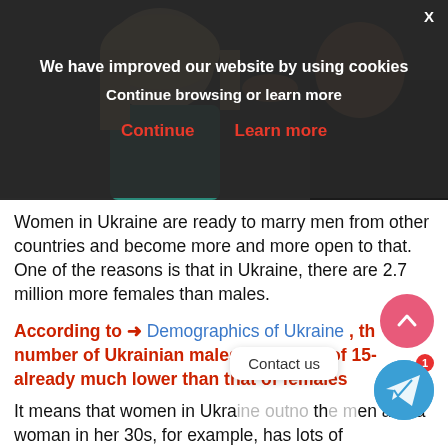[Figure (photo): Couple photo partially visible beneath cookie consent overlay — woman with blonde hair in teal top, man in dark shirt]
We have improved our website by using cookies
Continue browsing or learn more
Continue   Learn more
Women in Ukraine are ready to marry men from other countries and become more and more open to that. One of the reasons is that in Ukraine, there are 2.7 million more females than males.
According to → Demographics of Ukraine , the number of Ukrainian males at the age of 15- already much lower than that of females
It means that women in Ukraine outno th men and a woman in her 30s, for example, has lots of competitors. Ukraine ladies started to search for